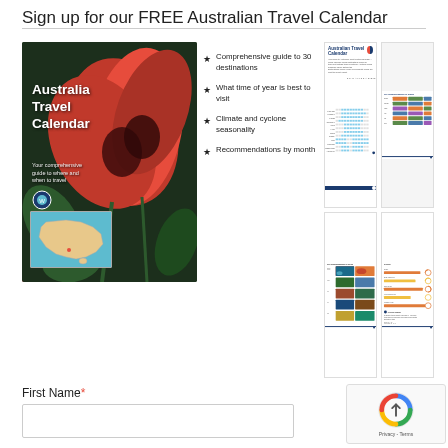Sign up for our FREE Australian Travel Calendar
[Figure (illustration): Book cover of Australia Travel Calendar featuring red Sturt's Desert Pea flowers and an Australia map inset]
Comprehensive guide to 30 destinations
What time of year is best to visit
Climate and cyclone seasonality
Recommendations by month
[Figure (screenshot): Preview of Australian Travel Calendar grid showing destinations by month]
[Figure (screenshot): Preview page showing Our recommendations by month with destination photos]
[Figure (screenshot): Preview page showing climate bars and cyclone season information]
First Name*